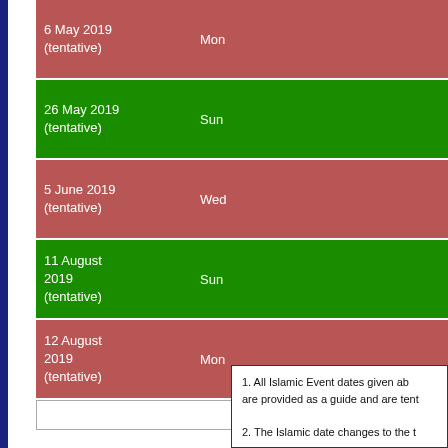| Date | Day |
| --- | --- |
| 6 May 2019 (tentative) | Mon |
| 26 May 2019 (tentative) | Sun |
| 5 June 2019 (tentative) | Wed |
| 11 August 2019 (tentative) | Sun |
| 12 August 2019 (tentative) | Mon |
|  |  |
1. All Islamic Event dates given ab are provided as a guide and are tent 2. The Islamic date changes to the t